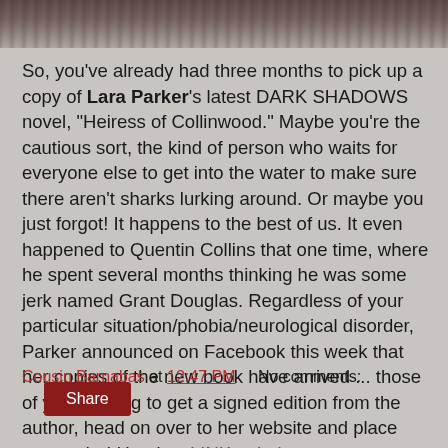[Figure (photo): Partial photo strip at top of page showing dark/brownish image, possibly a person or object, cropped]
So, you've already had three months to pick up a copy of Lara Parker's latest DARK SHADOWS novel, "Heiress of Collinwood." Maybe you're the cautious sort, the kind of person who waits for everyone else to get into the water to make sure there aren't sharks lurking around. Or maybe you just forgot! It happens to the best of us. It even happened to Quentin Collins that one time, where he spent several months thinking he was some jerk named Grant Douglas. Regardless of your particular situation/phobia/neurological disorder, Parker announced on Facebook this week that her copies of the new book have arrived ... those of you wanting to get a signed edition from the author, head on over to her website and place your order! Here's a LINK to help you on your quest.
Cousin Barnabas at 12:47 PM   No comments:
Share